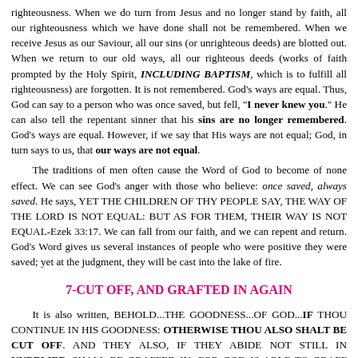righteousness. When we do turn from Jesus and no longer stand by faith, all our righteousness which we have done shall not be remembered. When we receive Jesus as our Saviour, all our sins (or unrighteous deeds) are blotted out. When we return to our old ways, all our righteous deeds (works of faith prompted by the Holy Spirit, INCLUDING BAPTISM, which is to fulfill all righteousness) are forgotten. It is not remembered. God's ways are equal. Thus, God can say to a person who was once saved, but fell, "I never knew you." He can also tell the repentant sinner that his sins are no longer remembered. God's ways are equal. However, if we say that His ways are not equal; God, in turn says to us, that our ways are not equal.
The traditions of men often cause the Word of God to become of none effect. We can see God's anger with those who believe: once saved, always saved. He says, YET THE CHILDREN OF THY PEOPLE SAY, THE WAY OF THE LORD IS NOT EQUAL: BUT AS FOR THEM, THEIR WAY IS NOT EQUAL-Ezek 33:17. We can fall from our faith, and we can repent and return. God's Word gives us several instances of people who were positive they were saved; yet at the judgment, they will be cast into the lake of fire.
7-CUT OFF, AND GRAFTED IN AGAIN
It is also written, BEHOLD...THE GOODNESS...OF GOD...IF THOU CONTINUE IN HIS GOODNESS: OTHERWISE THOU ALSO SHALT BE CUT OFF. AND THEY ALSO, IF THEY ABIDE NOT STILL IN UNBELIEF, SHALL BE GRAFFED IN: FOR GOD IS ABLE TO GRAFF THEM IN AGAIN-Ro 11:22,23.
Note the words, cut off and unbelief. If we fall into unbelief, we are cut off. If